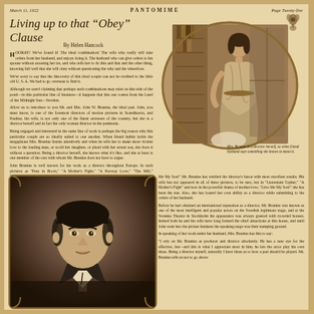March 11, 1922 | PANTOMIME | Page Twenty-five
[Figure (illustration): Decorative floral illustration in top right corner]
Living up to that "Obey" Clause
By Helen Hancock
HOORAY! We've found it! The ideal combination! The wife who really will take orders from her husband, and enjoys doing it. The husband who can give orders to his spouse without arousing her ire, and who tells her to do this and that and the other thing, knowing full well that she will obey without questioning the why and the wherefore.

We're sorry to say that the discovery of this ideal couple can not be credited to the little old U. S. A. We had to go overseas to find it.

Although we aren't claiming that perhaps such combinations may exist on this side of the pond—in this particular line of business—it happens that this one comes from the Land of the Midnight Sun—Sweden.

Allow us to introduce to you Mr. and Mrs. John W. Brunius, the ideal pair. John, you must know, is one of the foremost directors of motion pictures in Scandinavia, and Pauline, his wife, is not only one of the finest actresses of the country, but she is a director herself and in fact the only woman director in the peninsula.

Being engaged and interested in the same line of work is perhaps the big reason why this particular couple are so ideally suited to one another. When friend hubby holds the megaphone Mrs. Brunius listens attentively and when he tells her to make more violent love to the leading man, or scold her daughter, or plead with her errant son, she does it without a question. Being a director herself, she knows what it's like, and she at least is one member of the cast with whom Mr. Brunius does not have to argue.

John Brunius is well known for his work as a director throughout Europe. In such pictures as "Puss in Boots," "A Mother's Fight," "A Norway Love," "The Mill," "Lieutenant Tophet," and more recently his newest picture, "Give
[Figure (photo): Oval portrait photograph of Mrs. Brunius (Pauline) standing in a long draped gown, beside bookshelves]
Mrs. Brunius is a director herself, so when friend husband says something she knows to mean it.
[Figure (photo): Portrait photograph of John W. Brunius, a dark-haired man in a suit, shown from the shoulders up]
Me My Son!" Mr. Brunius has wielded the director's baton with most excellent results. His wife has not appeared in all of these pictures, to be sure, but in "Lieutenant Tophet," "A Mother's Fight" and now in the powerful drama of mother-love, "Give Me My Son!" she has been the star. Also, she has loaned her own ability as a director while submitting to the orders of her husband.

Before he had obtained an international reputation as a director, Mr. Brunius was known as one of the most intelligent and popular actors on the Swedish legitimate stage, and at the Svenska Theatre in Stockholm his appearance was always greeted with crowded houses. Indeed both he and his wife have long formed the chief attractions at this house, and until John went into the picture business the speaking stage was their stamping ground.

In speaking of her work under her husband, Mrs. Brunius has this to say:

"I rely on Mr. Brunius as producer and director absolutely. He has a sure eye for the effective, but—and this is what I appreciate most in him, he lets the actor play his own ideas. Being a director myself, naturally I have ideas as to how a part should be played. Mr. Brunius tells us not to go above